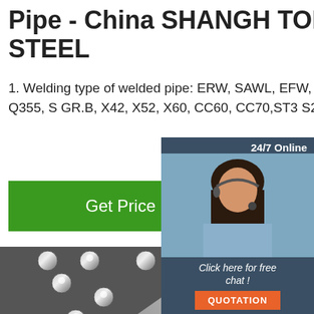Pipe - China SHANGH TOP STEEL
1. Welding type of welded pipe: ERW, SAWL, EFW, HFW. 2. Materials: Q235, Q355, S GR.B, X42, X52, X60, CC60, CC70,ST3 S235JR, S355JR,
[Figure (other): Green 'Get Price' button]
[Figure (other): Chat widget with '24/7 Online' header, photo of woman with headset, 'Click here for free chat!' text, and orange QUOTATION button]
[Figure (photo): Close-up photo of multiple steel rods/bars stacked diagonally, showing circular ends with metallic sheen. TOP logo overlay in bottom right.]